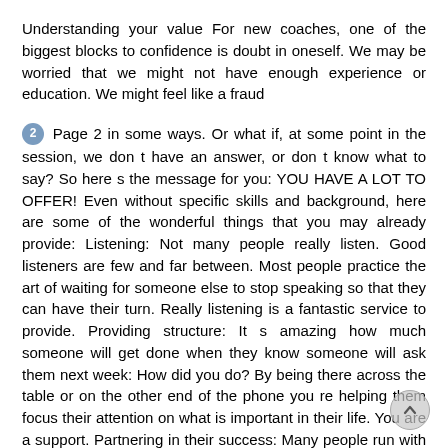Understanding your value For new coaches, one of the biggest blocks to confidence is doubt in oneself. We may be worried that we might not have enough experience or education. We might feel like a fraud
2 Page 2 in some ways. Or what if, at some point in the session, we don t have an answer, or don t know what to say? So here s the message for you: YOU HAVE A LOT TO OFFER! Even without specific skills and background, here are some of the wonderful things that you may already provide: Listening: Not many people really listen. Good listeners are few and far between. Most people practice the art of waiting for someone else to stop speaking so that they can have their turn. Really listening is a fantastic service to provide. Providing structure: It s amazing how much someone will get done when they know someone will ask them next week: How did you do? By being there across the table or on the other end of the phone you re helping them focus their attention on what is important in their life. You are a support. Partnering in their success: Many people run with a running partner. Without their partner they might not run as far, or even at all. However, with someone on their attention is focus as concerns i